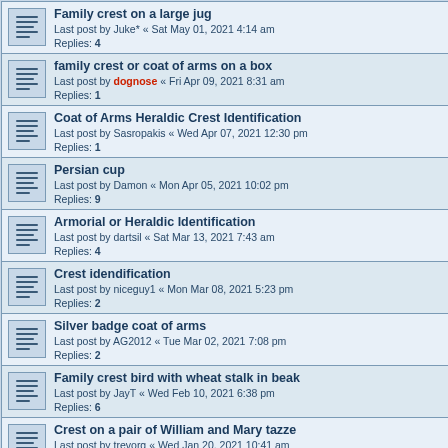Family crest on a large jug
Last post by Juke* « Sat May 01, 2021 4:14 am
Replies: 4
family crest or coat of arms on a box
Last post by dognose « Fri Apr 09, 2021 8:31 am
Replies: 1
Coat of Arms Heraldic Crest Identification
Last post by Sasropakis « Wed Apr 07, 2021 12:30 pm
Replies: 1
Persian cup
Last post by Damon « Mon Apr 05, 2021 10:02 pm
Replies: 9
Armorial or Heraldic Identification
Last post by dartsil « Sat Mar 13, 2021 7:43 am
Replies: 4
Crest idendification
Last post by niceguy1 « Mon Mar 08, 2021 5:23 pm
Replies: 2
Silver badge coat of arms
Last post by AG2012 « Tue Mar 02, 2021 7:08 pm
Replies: 2
Family crest bird with wheat stalk in beak
Last post by JayT « Wed Feb 10, 2021 6:38 pm
Replies: 6
Crest on a pair of William and Mary tazze
Last post by trevorg « Wed Jan 20, 2021 10:41 am
Replies: 10
Crest on William and Mary two handled cup
Last post by trevorg « Mon Jan 11, 2021 12:25 pm
Replies: 2